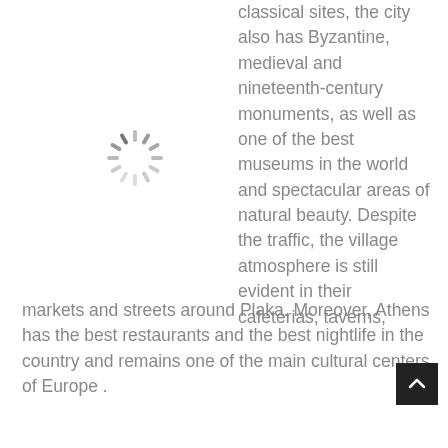classical sites, the city also has Byzantine, medieval and nineteenth-century monuments, as well as one of the best museums in the world and spectacular areas of natural beauty. Despite the traffic, the village atmosphere is still evident in their cafeterias, taverns, markets and streets around Plaka. Moreover, Athens has the best restaurants and the best nightlife in the country and remains one of the main cultural centers of Europe .
[Figure (other): Loading spinner icon (circular dashed/spoked loading indicator)]